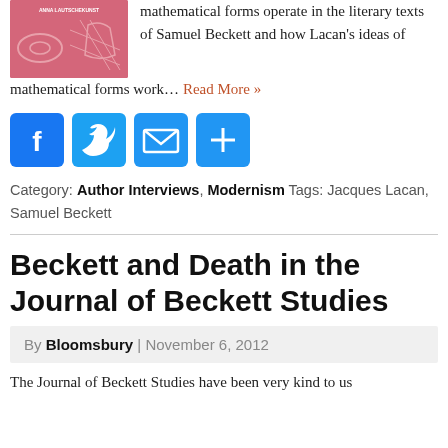[Figure (photo): Book cover image with pink/red background and geometric shapes]
mathematical forms operate in the literary texts of Samuel Beckett and how Lacan's ideas of mathematical forms work… Read More »
[Figure (infographic): Social sharing icons: Facebook, Twitter, Email, Share]
Category: Author Interviews, Modernism  Tags: Jacques Lacan, Samuel Beckett
Beckett and Death in the Journal of Beckett Studies
By Bloomsbury | November 6, 2012
The Journal of Beckett Studies have been very kind to us